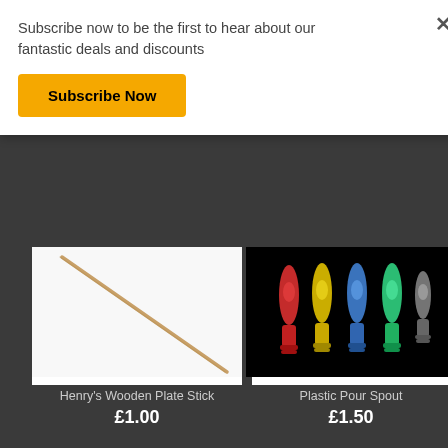Subscribe now to be the first to hear about our fantastic deals and discounts
Subscribe Now
[Figure (photo): Diagonal wooden plate stick on white background]
Add to Cart
Henry's Wooden Plate Stick
£1.00
[Figure (photo): Five colorful plastic pour spouts (red, yellow, blue, green, black/silver) on black background]
Add to Cart
Plastic Pour Spout
£1.50